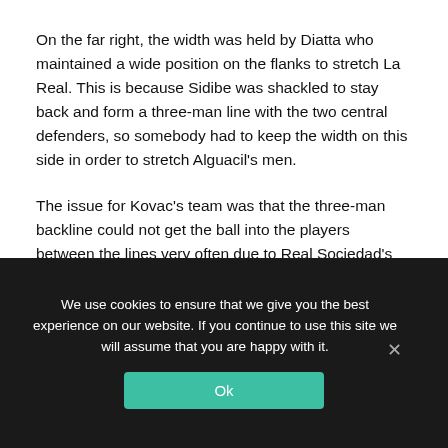On the far right, the width was held by Diatta who maintained a wide position on the flanks to stretch La Real. This is because Sidibe was shackled to stay back and form a three-man line with the two central defenders, so somebody had to keep the width on this side in order to stretch Alguacil's men.
The issue for Kovac's team was that the three-man backline could not get the ball into the players between the lines very often due to Real Sociedad's excellent press.
We use cookies to ensure that we give you the best experience on our website. If you continue to use this site we will assume that you are happy with it.